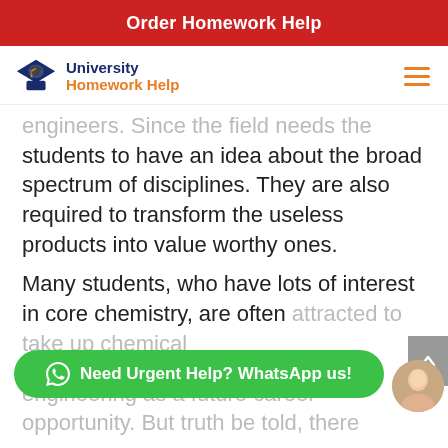Order Homework Help
[Figure (logo): University Homework Help logo with graduation cap icon, navy and orange text]
engineers. Since the field needs the students to have an idea about the broad spectrum of disciplines. They are also required to transform the useless products into value worthy ones.
Many students, who have lots of interest in core chemistry, are often attracted to take up chemical engineering as a future career opportunity. But truth be told, there
[Figure (other): Need Urgent Help? WhatsApp us! green button with WhatsApp icon]
[Figure (photo): Female avatar chat support agent photo]